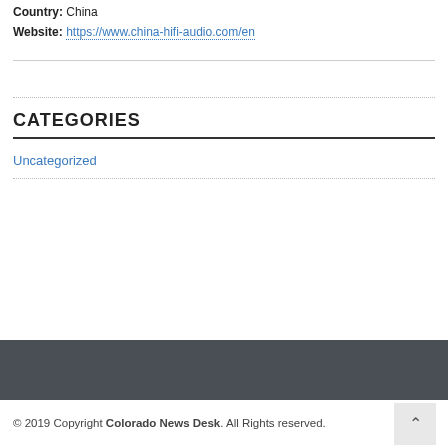Country: China
Website: https://www.china-hifi-audio.com/en
CATEGORIES
Uncategorized
© 2019 Copyright Colorado News Desk. All Rights reserved.